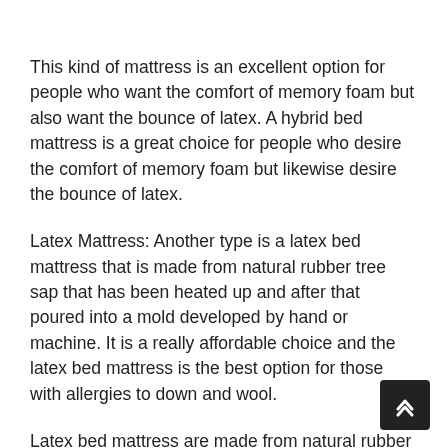This kind of mattress is an excellent option for people who want the comfort of memory foam but also want the bounce of latex. A hybrid bed mattress is a great choice for people who desire the comfort of memory foam but likewise desire the bounce of latex.
Latex Mattress: Another type is a latex bed mattress that is made from natural rubber tree sap that has been heated up and after that poured into a mold developed by hand or machine. It is a really affordable choice and the latex bed mattress is the best option for those with allergies to down and wool.
Latex bed mattress are made from natural rubber and...